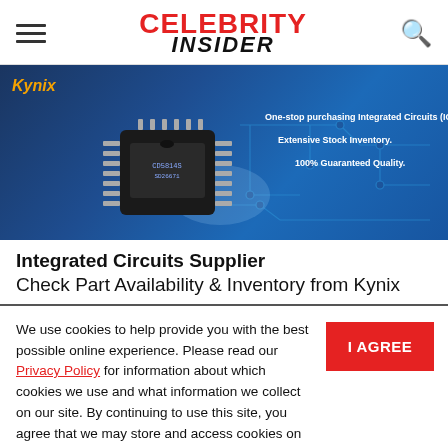CELEBRITY INSIDER
[Figure (photo): Kynix advertisement banner showing an integrated circuit chip on a blue background with circuit board traces. Text reads: One-stop purchasing Integrated Circuits (ICs). Extensive Stock Inventory. 100% Guaranteed Quality.]
Integrated Circuits Supplier Check Part Availability & Inventory from Kynix
We use cookies to help provide you with the best possible online experience. Please read our Privacy Policy for information about which cookies we use and what information we collect on our site. By continuing to use this site, you agree that we may store and access cookies on your device.